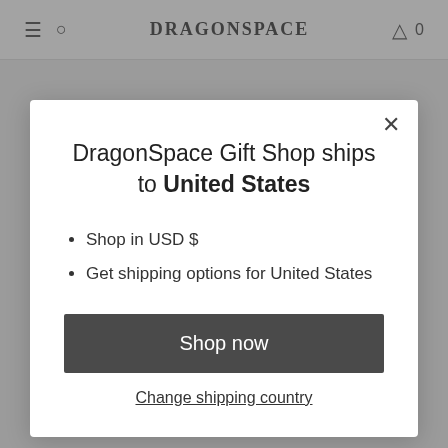DRAGONSPACE  0
or a Labrador…notoriously faithful animals! Falkor is optimistic, wise and friendly and possesses
DragonSpace Gift Shop ships to United States
Shop in USD $
Get shipping options for United States
Shop now
Change shipping country